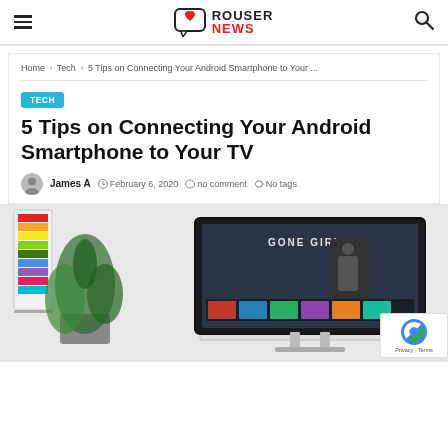Rouser News
Home > Tech > 5 Tips on Connecting Your Android Smartphone to Your ...
TECH
5 Tips on Connecting Your Android Smartphone to Your TV
James A  February 6, 2020  no comment  No tags
[Figure (photo): A flat-screen TV on a white TV stand displaying 'Gone Girl' on a streaming interface, with a green plant beside it and a colorful poster on the wall to the left.]